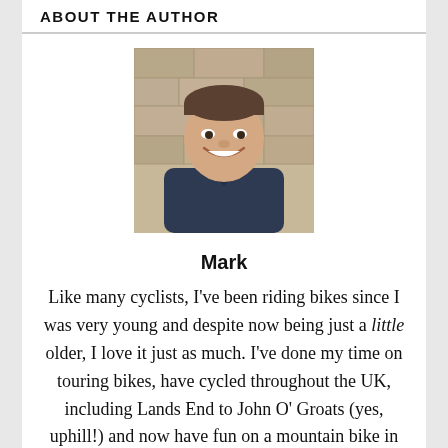ABOUT THE AUTHOR
[Figure (photo): Headshot photo of author Mark, a middle-aged man smiling, wearing a dark shirt, against a stone wall background.]
Mark
Like many cyclists, I've been riding bikes since I was very young and despite now being just a little older, I love it just as much. I've done my time on touring bikes, have cycled throughout the UK, including Lands End to John O' Groats (yes, uphill!) and now have fun on a mountain bike in the hills of North Wales, do regular charity bike rides and Sportives across Wirral, Merseyside and Cheshire on my road bike. I created the UCI Cycling iCal to add UCI World